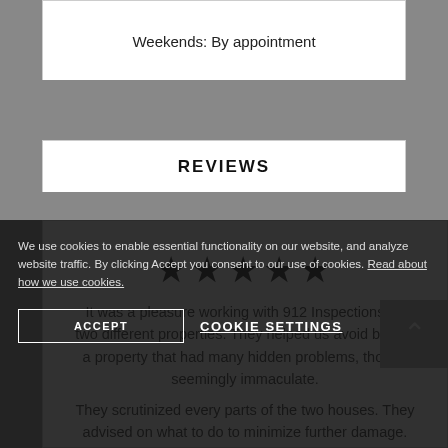Weekends: By appointment
REVIEWS
★★★★★
It was a pleasure working with 912 Inspections on two different properties. They helped us avoid buying a property that had many hidden problems, though seemingly immaculate.
They scrutinized every parts of the two houses. They advised on what to do to minimize further damage. The
We use cookies to enable essential functionality on our website, and analyze website traffic. By clicking Accept you consent to our use of cookies. Read about how we use cookies.
ACCEPT
COOKIE SETTINGS